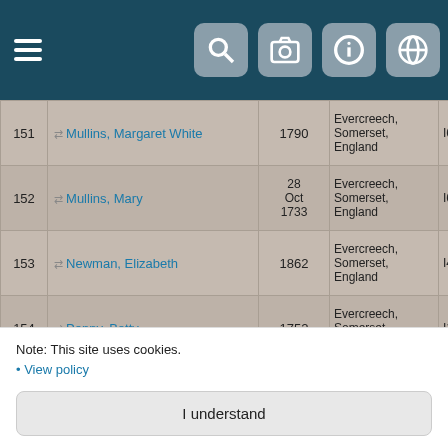Navigation bar with menu, search, camera, info, and globe icons
| # | Name | Year | Place | ID | Tree |
| --- | --- | --- | --- | --- | --- |
| 151 | Mullins, Margaret White | 1790 | Evercreech, Somerset, England | I63529 | Th… Wi… Fa… Tre… |
| 152 | Mullins, Mary | 28 Oct 1733 | Evercreech, Somerset, England | I63306 | Th… Wi… Fa… Tre… |
| 153 | Newman, Elizabeth | 1862 | Evercreech, Somerset, England | I4916 | Th… Wi… Fa… Tre… |
| 154 | Penny, Betty | 1752 | Evercreech, Somerset, England | I117313 | Th… Wi… Fa… Tre… |
| 155 | Peters, Henry | 1804 | Evercreech, Somerset, | I63367 | Th… Wi… Fa… |
Note: This site uses cookies.
• View policy
I understand